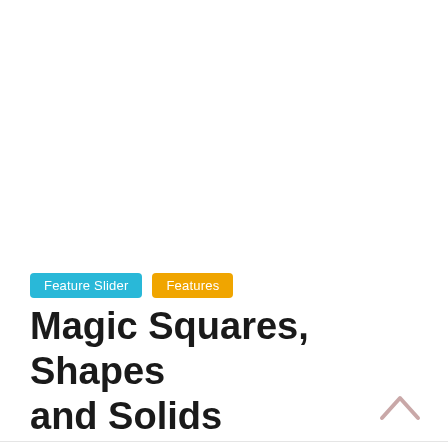Feature Slider | Features
Magic Squares, Shapes and Solids
February 21, 2018   Nicasio Velez   0 Comments